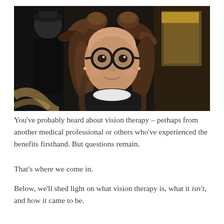[Figure (photo): A young girl with large round black-framed glasses and her hair up in two buns, smiling at the camera. Background shows a blurred street scene with other people.]
You've probably heard about vision therapy – perhaps from another medical professional or others who've experienced the benefits firsthand. But questions remain.
That's where we come in.
Below, we'll shed light on what vision therapy is, what it isn't, and how it came to be.